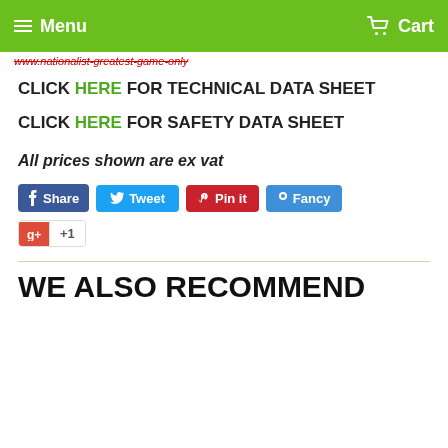Menu   Cart
www.nationalist-greatest-game-only
CLICK HERE FOR TECHNICAL DATA SHEET
CLICK HERE FOR SAFETY DATA SHEET
All prices shown are ex vat
Share  Tweet  Pin it  Fancy  +1
WE ALSO RECOMMEND